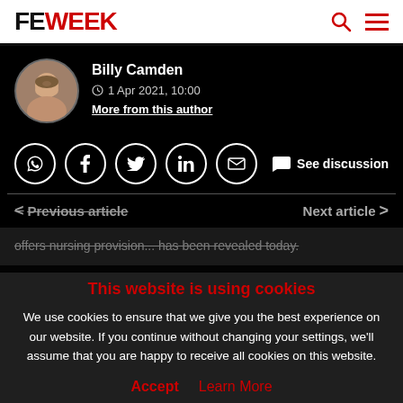FE WEEK
[Figure (photo): Circular profile photo of Billy Camden, a man with short hair and a beard, smiling]
Billy Camden
1 Apr 2021, 10:00
More from this author
[Figure (infographic): Social share icons: WhatsApp, Facebook, Twitter, LinkedIn, Email; and See discussion button]
Previous article
Next article
This website is using cookies
We use cookies to ensure that we give you the best experience on our website. If you continue without changing your settings, we'll assume that you are happy to receive all cookies on this website.
Accept   Learn More
South Devon College has gained Nursing and Midwifery Council (NMC) approval and can now deliver...